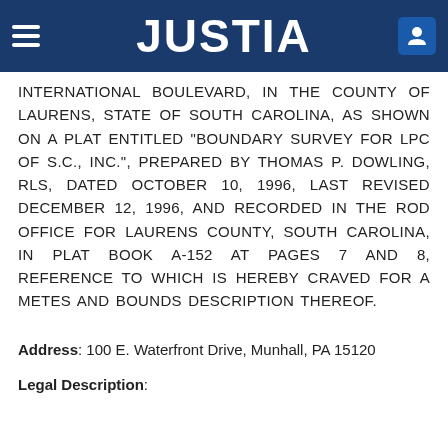JUSTIA
INTERNATIONAL BOULEVARD, IN THE COUNTY OF LAURENS, STATE OF SOUTH CAROLINA, AS SHOWN ON A PLAT ENTITLED "BOUNDARY SURVEY FOR LPC OF S.C., INC.", PREPARED BY THOMAS P. DOWLING, RLS, DATED OCTOBER 10, 1996, LAST REVISED DECEMBER 12, 1996, AND RECORDED IN THE ROD OFFICE FOR LAURENS COUNTY, SOUTH CAROLINA, IN PLAT BOOK A-152 AT PAGES 7 AND 8, REFERENCE TO WHICH IS HEREBY CRAVED FOR A METES AND BOUNDS DESCRIPTION THEREOF.
Address: 100 E. Waterfront Drive, Munhall, PA 15120
Legal Description: